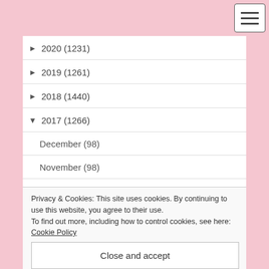► 2020 (1231)
► 2019 (1261)
► 2018 (1440)
▼ 2017 (1266)
December (98)
November (98)
October (119)
Privacy & Cookies: This site uses cookies. By continuing to use this website, you agree to their use.
To find out more, including how to control cookies, see here: Cookie Policy
Close and accept
June (99)